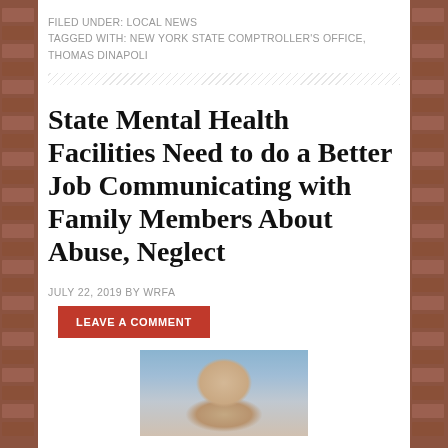FILED UNDER: LOCAL NEWS
TAGGED WITH: NEW YORK STATE COMPTROLLER'S OFFICE, THOMAS DINAPOLI
State Mental Health Facilities Need to do a Better Job Communicating with Family Members About Abuse, Neglect
JULY 22, 2019 BY WRFA
LEAVE A COMMENT
[Figure (photo): Headshot photo of a man, partial view, against a blue/grey background]